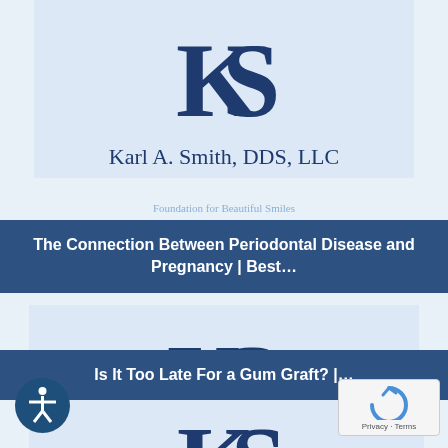[Figure (logo): KS monogram logo for Karl A. Smith, DDS, LLC - top instance]
Karl A. Smith, DDS, LLC
The Connection Between Periodontal Disease and Pregnancy | Best…
[Figure (logo): KS monogram logo for Karl A. Smith, DDS, LLC - middle instance with Periodontics and Dental Implants subtitle]
Karl A. Smith, DDS, LLC
Periodontics and Dental Implants
Is It Too Late For a Gum Graft? |…
[Figure (logo): KS monogram logo partial - bottom instance]